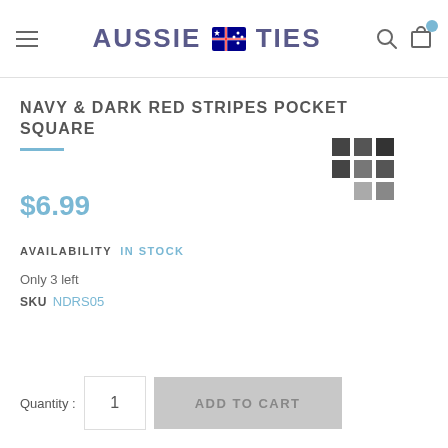AUSSIE TIES — navigation header with hamburger menu, logo, search icon, cart icon
NAVY & DARK RED STRIPES POCKET SQUARE
[Figure (other): Grid of dark grey color swatches (3x3 grid with bottom-left empty) representing color/pattern options]
$6.99
AVAILABILITY  IN STOCK
Only 3 left
SKU  NDRS05
Quantity : 1  ADD TO CART